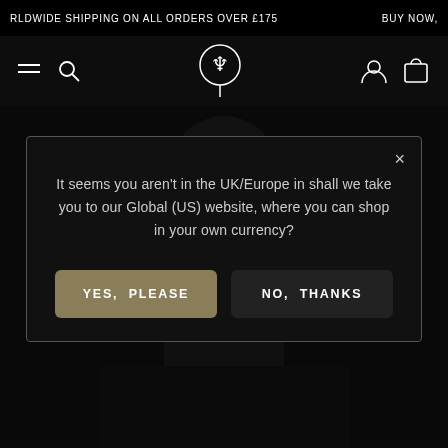WORLDWIDE SHIPPING ON ALL ORDERS OVER £175   BUY NOW,
[Figure (screenshot): E-commerce website header with hamburger menu, search icon, brand logo (Neptune/trident symbol in circle), user account icon, and cart icon on dark background]
[Figure (screenshot): Dark silhouette of a person wearing a backpack/bag product against black background]
It seems you aren't in the UK/Europe in shall we take you to our Global (US) website, where you can shop in your own currency?
YES, PLEASE
NO, THANKS